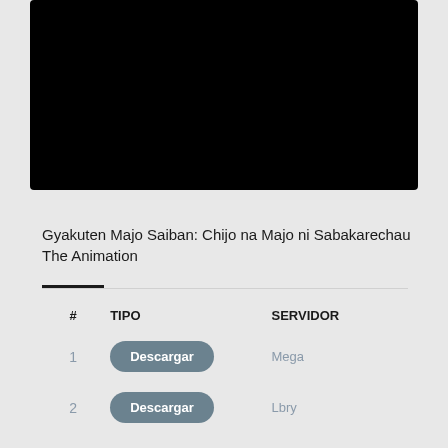[Figure (other): Black video player area]
Gyakuten Majo Saiban: Chijo na Majo ni Sabakarechau The Animation
| # | TIPO | SERVIDOR |
| --- | --- | --- |
| 1 | Descargar | Mega |
| 2 | Descargar | Lbry |